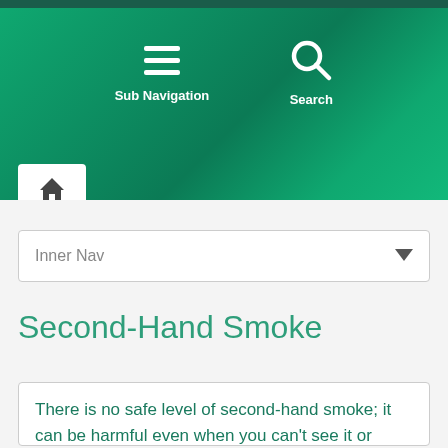[Figure (screenshot): Green website header with Sub Navigation and Search icons]
Inner Nav
Second-Hand Smoke
There is no safe level of second-hand smoke; it can be harmful even when you can't see it or smell it.